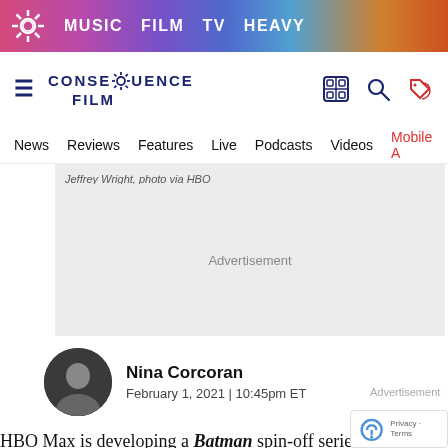MUSIC  FILM  TV  HEAVY
[Figure (logo): Consequence Film logo with gear icon]
News  Reviews  Features  Live  Podcasts  Videos  Mobile A
Jeffrey Wright, photo via HBO
Advertisement
Nina Corcoran
February 1, 2021 | 10:45pm ET
HBO Max is developing a Batman spin-off series for TV, and apparently they're crafting a Batman miniseries for your ears, too. Say h to Batman: The Audio Adventures, a new